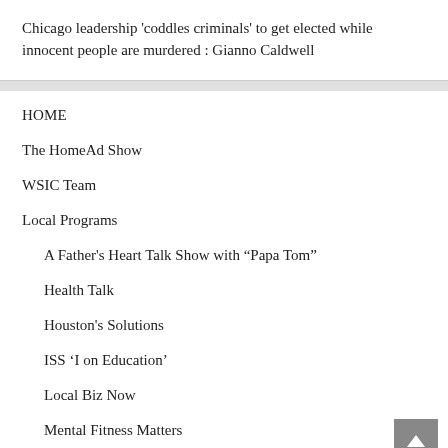Chicago leadership 'coddles criminals' to get elected while innocent people are murdered : Gianno Caldwell
HOME
The HomeAd Show
WSIC Team
Local Programs
A Father's Heart Talk Show with “Papa Tom”
Health Talk
Houston's Solutions
ISS ‘I on Education’
Local Biz Now
Mental Fitness Matters